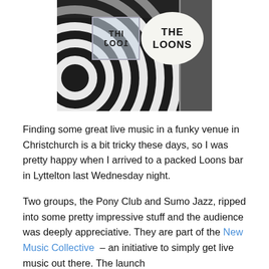[Figure (photo): Photo of The Loons bar exterior in Lyttelton. Black and white concentric circle mural on wall, a window showing reflected text 'THE LOON' (mirrored), and a large oval sign reading 'THE LOONS' on the right side next to a grey door.]
Finding some great live music in a funky venue in Christchurch is a bit tricky these days, so I was pretty happy when I arrived to a packed Loons bar in Lyttelton last Wednesday night.
Two groups, the Pony Club and Sumo Jazz, ripped into some pretty impressive stuff and the audience was deeply appreciative. They are part of the New Music Collective – an initiative to simply get live music out there. The launch